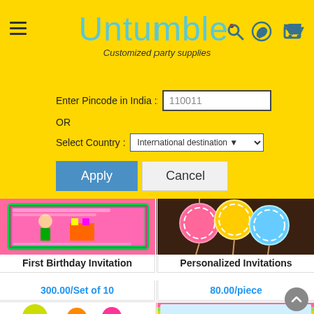[Figure (logo): Untumble logo with text 'Customized party supplies' on yellow background, with hamburger menu icon and search/whatsapp/cart icons]
[Figure (screenshot): Shipping pincode form with 'Enter Pincode in India: 110011' input, OR text, 'Select Country: International destination' dropdown, Apply and Cancel buttons on yellow background]
[Figure (screenshot): First Birthday Invitation product image - pink card with girl illustration]
First Birthday Invitation
300.00/Set of 10
[Figure (screenshot): Personalized Invitations product image - colorful balloon circles on dark background]
Personalized Invitations
80.00/piece
[Figure (screenshot): Candy-themed product image with colorful candy illustrations]
[Figure (screenshot): Candyland Birthday invitation card - Ananya's Candyland Birthday]